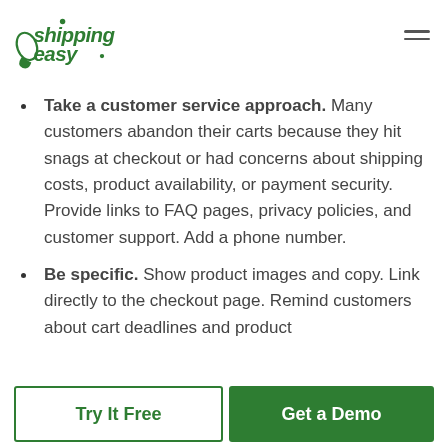[Figure (logo): ShippingEasy logo in green script font]
Take a customer service approach. Many customers abandon their carts because they hit snags at checkout or had concerns about shipping costs, product availability, or payment security. Provide links to FAQ pages, privacy policies, and customer support. Add a phone number.
Be specific. Show product images and copy. Link directly to the checkout page. Remind customers about cart deadlines and product